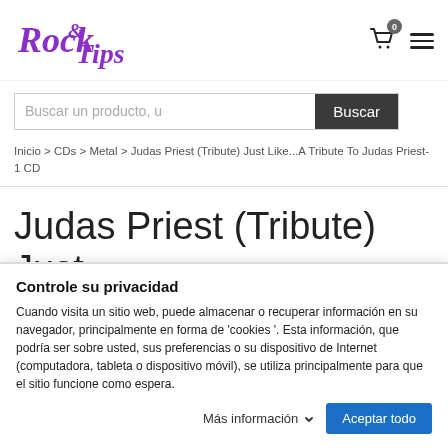[Figure (logo): Rock & Tips store logo in purple cursive/script font]
Buscar un producto, u
Buscar
Inicio > CDs > Metal > Judas Priest (Tribute) Just Like...A Tribute To Judas Priest-1 CD
Judas Priest (Tribute) Just Like...A Tribute To Judas
Controle su privacidad
Cuando visita un sitio web, puede almacenar o recuperar información en su navegador, principalmente en forma de 'cookies '. Esta información, que podría ser sobre usted, sus preferencias o su dispositivo de Internet (computadora, tableta o dispositivo móvil), se utiliza principalmente para que el sitio funcione como espera.
Más información
Aceptar todo